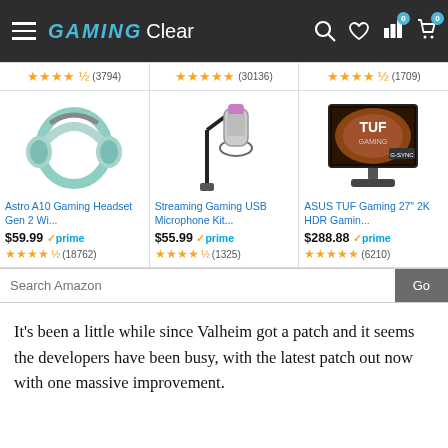[Figure (screenshot): GAMING Clear website navigation bar with hamburger menu, brand logo, search icon, heart icon, bar chart icon, and shopping cart icon with 0 badges]
[Figure (screenshot): Top ratings row showing three product star ratings: 4.5 stars (3794), 5 stars (30136), 4.5 stars (1709)]
[Figure (screenshot): Astro A10 Gaming Headset Gen 2 Wi... product card with mint green headset image, $59.99 prime price, 4.5 stars (18762)]
[Figure (screenshot): Streaming Gaming USB Microphone Kit... product card with microphone on boom arm image, $55.99 prime price, 4.5 stars (1325)]
[Figure (screenshot): ASUS TUF Gaming 27" 2K HDR Gamin... product card with monitor image, $288.88 prime price, 5 stars (6210)]
[Figure (screenshot): Search Amazon search bar with Go button]
It's been a little while since Valheim got a patch and it seems the developers have been busy, with the latest patch out now with one massive improvement.